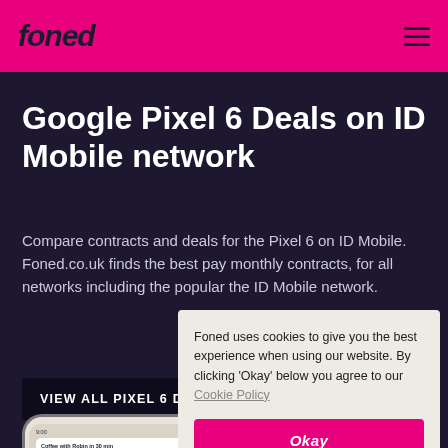foned
Google Pixel 6 Deals on ID Mobile network
Compare contracts and deals for the Pixel 6 on ID Mobile. Foned.co.uk finds the best pay monthly contracts, for all networks including the popular the ID Mobile network.
VIEW ALL PIXEL 6 DEALS →
[Figure (screenshot): Google Pixel 6 phone mockup showing a screen with notification about 'Coffee with Robin in 30 min']
Foned uses cookies to give you the best experience when using our website. By clicking 'Okay' below you agree to our Cookie Policy
Okay